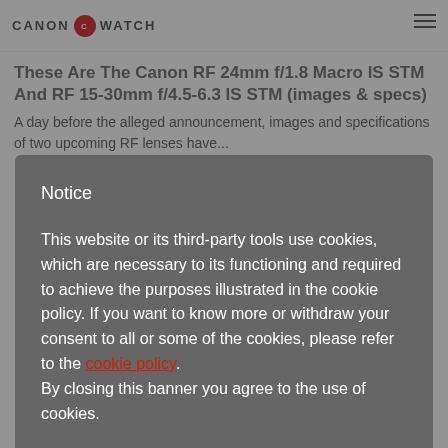CANON WATCH
These Are The Canon RF 24mm f/1.8 Macro IS STM And RF 15-30mm f/4.5-6.3 IS STM (images & specs)
A day before the alleged announcement, images and specifications of two upcoming RF lenses have...
Notice
This website or its third-party tools use cookies, which are necessary to its functioning and required to achieve the purposes illustrated in the cookie policy. If you want to know more or withdraw your consent to all or some of the cookies, please refer to the cookie policy. By closing this banner you agree to the use of cookies.
keep disabled
ENABLE